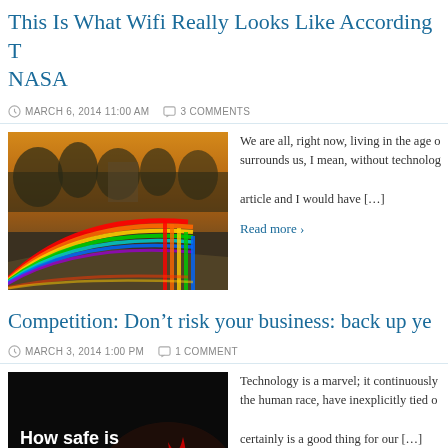This Is What Wifi Really Looks Like According To NASA
MARCH 6, 2014 11:00 AM   3 COMMENTS
[Figure (photo): WiFi visualization showing rainbow spectrum waves curving over a park/garden path with trees in the background]
We are all, right now, living in the age of... surrounds us, I mean, without technolog... article and I would have […]
Read more ›
Competition: Don't risk your business: back up ye
MARCH 3, 2014 1:00 PM   1 COMMENT
[Figure (photo): Dark background with text 'How safe is your data?' and image of CDs/DVDs with fire flames]
Technology is a marvel; it continuously... the human race, have inexplicitly tied o... certainly is a good thing for our […]
Read more ›